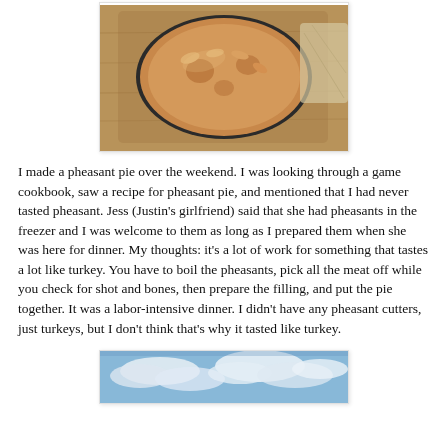[Figure (photo): Top-down photo of a baked pheasant pie with decorative pastry crust on a wooden cutting board, with a dark pie dish visible underneath.]
I made a pheasant pie over the weekend. I was looking through a game cookbook, saw a recipe for pheasant pie, and mentioned that I had never tasted pheasant. Jess (Justin's girlfriend) said that she had pheasants in the freezer and I was welcome to them as long as I prepared them when she was here for dinner. My thoughts: it's a lot of work for something that tastes a lot like turkey. You have to boil the pheasants, pick all the meat off while you check for shot and bones, then prepare the filling, and put the pie together. It was a labor-intensive dinner. I didn't have any pheasant cutters, just turkeys, but I don't think that's why it tasted like turkey.
[Figure (photo): Partial photo of a sky with clouds, bottom portion of image visible.]